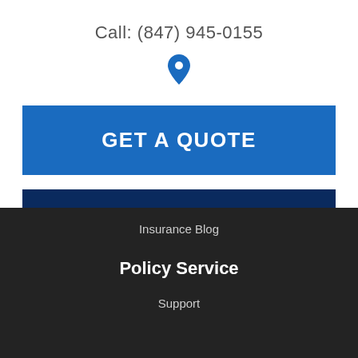Call: (847) 945-0155
[Figure (illustration): Blue map/location pin icon]
GET A QUOTE
FILE A CLAIM
Insurance Blog
Policy Service
Support